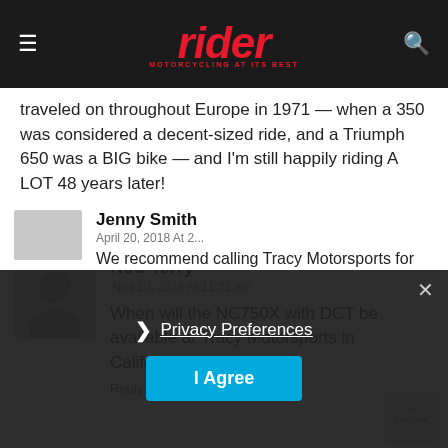[Figure (logo): Rider magazine logo - red italic text 'rider' with tagline 'MOTORCYCLING AT ITS BEST' on dark header bar]
traveled on throughout Europe in 1971 — when a 350 was considered a decent-sized ride, and a Triumph 650 was a BIG bike — and I'm still happily riding A LOT 48 years later!
Reply
Rod Terry
April 20, 2018 At 11:31 am
When will the NC750X with DCT be available at Tracy Motorsports in California?
Reply
Jenny Smith
April 20, 2018 At 2...
We recommend calling Tracy Motorsports for
Privacy Preferences
I Agree